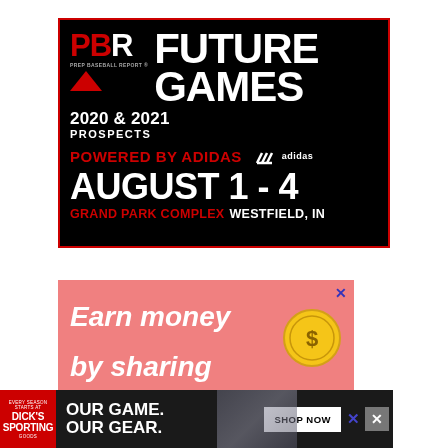[Figure (illustration): PBR Future Games advertisement banner. Black background with red border. Shows PBR (Prep Baseball Report) logo, 'FUTURE GAMES' in large white text, '2020 & 2021 PROSPECTS', 'POWERED BY adidas' in red, Adidas logo, 'AUGUST 1 - 4' in large white text, 'GRAND PARK COMPLEX WESTFIELD, IN' at bottom.]
[Figure (illustration): Pink advertisement banner reading 'Earn money by sharing y...' with a gold coin icon on the right side, and a blue X close button in the top right corner.]
[Figure (illustration): Dick's Sporting Goods advertisement banner at the bottom. Dark background with Dick's logo on left, 'OUR GAME. OUR GEAR.' text in center, 'SHOP NOW' white button, blue X close, and grey close box on right. Background shows a baseball player image.]